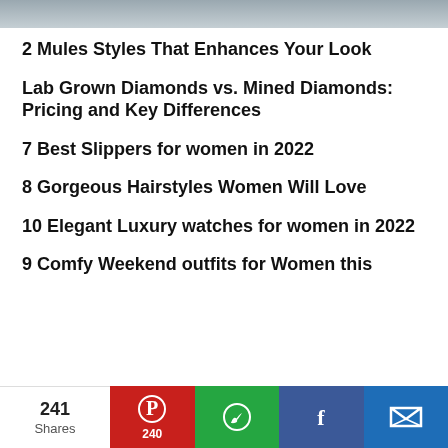[Figure (photo): Top image strip, appears to be a grey textured surface or fabric]
2 Mules Styles That Enhances Your Look
Lab Grown Diamonds vs. Mined Diamonds: Pricing and Key Differences
7 Best Slippers for women in 2022
8 Gorgeous Hairstyles Women Will Love
10 Elegant Luxury watches for women in 2022
9 Comfy Weekend outfits for Women this
241 Shares | Pinterest 240 | WhatsApp | Facebook | Email